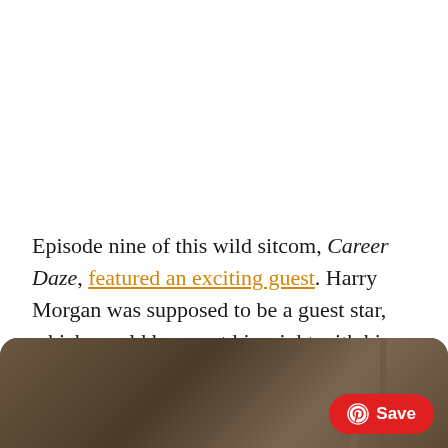Episode nine of this wild sitcom, Career Daze, featured an exciting guest. Harry Morgan was supposed to be a guest star, which would have put him right with his M*A*S*H colleague David Ogden Stiers.
[Figure (photo): Outdoor scene partially visible at bottom of page, brownish tones suggesting a field or outdoor setting, with a red Pinterest Save button overlay in the bottom right corner.]